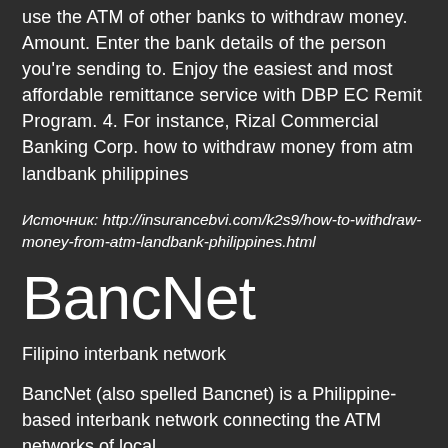use the ATM of other banks to withdraw money. Amount. Enter the bank details of the person you're sending to. Enjoy the easiest and most affordable remittance service with DBP EC Remit Program. 4. For instance, Rizal Commercial Banking Corp. how to withdraw money from atm landbank philippines
Источник: http://insurancebvi.com/k2s9/how-to-withdraw-money-from-atm-landbank-philippines.html
BancNet
Filipino interbank network
BancNet (also spelled Bancnet) is a Philippine-based interbank network connecting the ATM networks of local